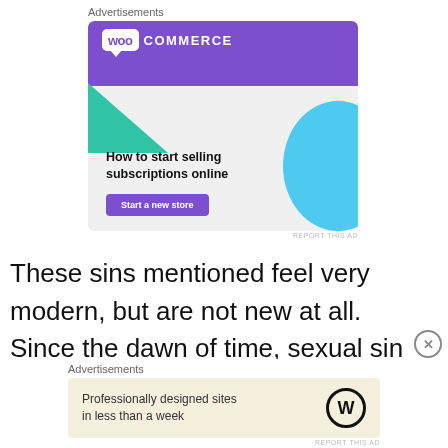Advertisements
[Figure (illustration): WooCommerce advertisement banner with purple header, WooCommerce logo, green triangle shape, blue curved shape, headline 'How to start selling subscriptions online', and purple 'Start a new store' button]
REPORT THIS AD
These sins mentioned feel very modern, but are not new at all. Since the dawn of time, sexual sin
Advertisements
[Figure (illustration): WordPress advertisement banner with beige background, text 'Professionally designed sites in less than a week' and WordPress logo]
REPORT THIS AD